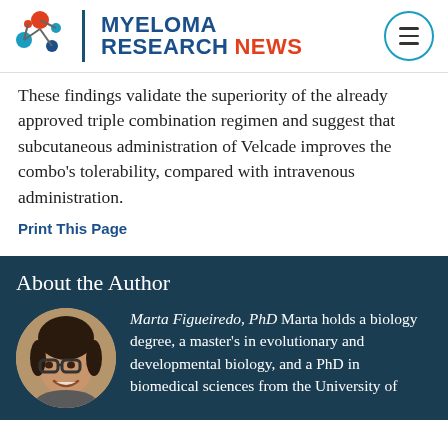[Figure (logo): Myeloma Research News logo with molecule icon, blue and red text, and hamburger menu button]
These findings validate the superiority of the already approved triple combination regimen and suggest that subcutaneous administration of Velcade improves the combo's tolerability, compared with intravenous administration.
Print This Page
About the Author
[Figure (photo): Circular portrait photo of Marta Figueiredo, PhD — a smiling woman with dark hair, glasses]
Marta Figueiredo, PhD Marta holds a biology degree, a master's in evolutionary and developmental biology, and a PhD in biomedical sciences from the University of